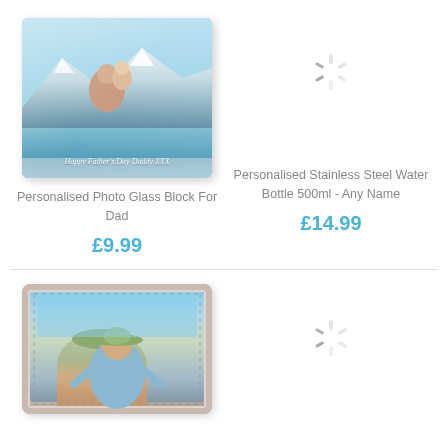[Figure (photo): Personalised photo glass block showing a man holding a baby with mountains in the background, with text 'Happy Father's Day Daddy XXX' overlaid on the glass block]
Personalised Photo Glass Block For Dad
£9.99
[Figure (other): Loading spinner / circular loading indicator]
Personalised Stainless Steel Water Bottle 500ml - Any Name
£14.99
[Figure (photo): Personalised photo wallet showing a toddler wearing a wide-brim hat, product shown in a leather-style wallet case]
[Figure (other): Loading spinner / circular loading indicator]